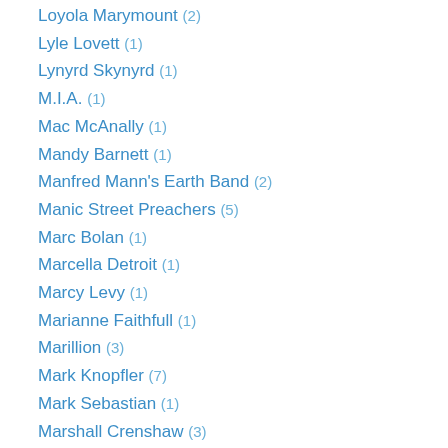Loyola Marymount (2)
Lyle Lovett (1)
Lynyrd Skynyrd (1)
M.I.A. (1)
Mac McAnally (1)
Mandy Barnett (1)
Manfred Mann's Earth Band (2)
Manic Street Preachers (5)
Marc Bolan (1)
Marcella Detroit (1)
Marcy Levy (1)
Marianne Faithfull (1)
Marillion (3)
Mark Knopfler (7)
Mark Sebastian (1)
Marshall Crenshaw (3)
Martha Davis (2)
Marty Balin (1)
Marvin Gaye (3)
Mary Tyler Moore (1)